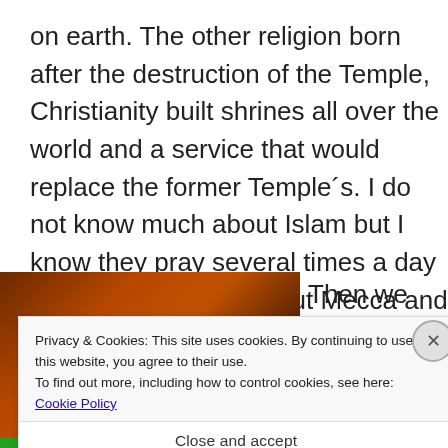on earth. The other religion born after the destruction of the Temple, Christianity built shrines all over the world and a service that would replace the former Temple´s. I do not know much about Islam but I know they pray several times a day facing not Jerusalem but Mecca and I am sure also asking God for blessings and peace.
[Figure (photo): Dark reddish-brown textured background, possibly wood or stone surface]
Then we
Privacy & Cookies: This site uses cookies. By continuing to use this website, you agree to their use.
To find out more, including how to control cookies, see here: Cookie Policy
Close and accept